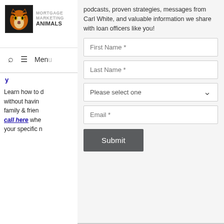[Figure (logo): Mortgage Marketing Animals logo with tiger image and text]
Menu
y
Learn how to d... without havin... family & frien... call here whe... your specific n...
podcasts, proven strategies, messages from Carl White, and valuable information we share with loan officers like you!
First Name *
Last Name *
Please select one
Email *
Submit